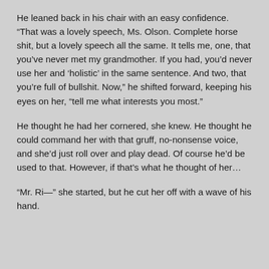He leaned back in his chair with an easy confidence. “That was a lovely speech, Ms. Olson. Complete horse shit, but a lovely speech all the same. It tells me, one, that you’ve never met my grandmother. If you had, you’d never use her and ‘holistic’ in the same sentence. And two, that you’re full of bullshit. Now,” he shifted forward, keeping his eyes on her, “tell me what interests you most.”
He thought he had her cornered, she knew. He thought he could command her with that gruff, no-nonsense voice, and she’d just roll over and play dead. Of course he’d be used to that. However, if that’s what he thought of her…
“Mr. Ri—” she started, but he cut her off with a wave of his hand.